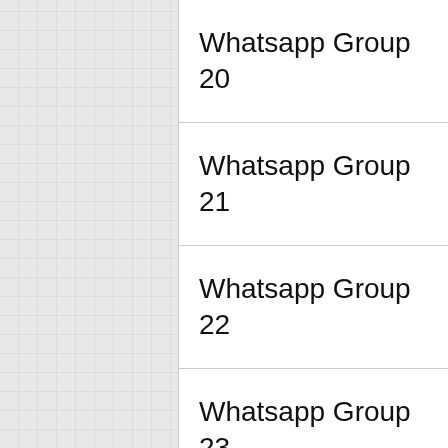| Group | Link |
| --- | --- |
| Whatsapp Group 20 | Join Here |
| Whatsapp Group 21 | Join Here |
| Whatsapp Group 22 | Join Here |
| Whatsapp Group 23 | Join Here |
| Whatsapp Group 24 | Join Here |
| Whatsapp Group | Join |